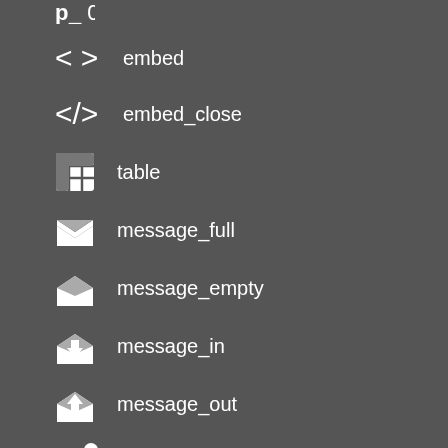embed
embed_close
table
message_full
message_empty
message_in
message_out
message_plus
message_minus